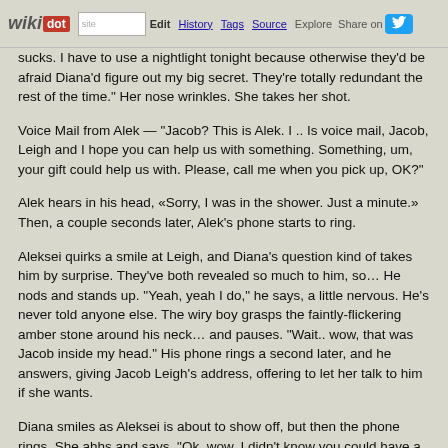wikidot | site | Edit | History | Tags | Source | Explore | Share on [Twitter]
sucks. I have to use a nightlight tonight because otherwise they'd be afraid Diana'd figure out my big secret. They're totally redundant the rest of the time." Her nose wrinkles. She takes her shot.
Voice Mail from Alek — "Jacob? This is Alek. I .. Is voice mail, Jacob, Leigh and I hope you can help us with something. Something, um, your gift could help us with. Please, call me when you pick up, OK?"
Alek hears in his head, «Sorry, I was in the shower. Just a minute.» Then, a couple seconds later, Alek's phone starts to ring.
Aleksei quirks a smile at Leigh, and Diana's question kind of takes him by surprise. They've both revealed so much to him, so… He nods and stands up. "Yeah, yeah I do," he says, a little nervous. He's never told anyone else. The wiry boy grasps the faintly-flickering amber stone around his neck… and pauses. "Wait.. wow, that was Jacob inside my head." His phone rings a second later, and he answers, giving Jacob Leigh's address, offering to let her talk to him if she wants.
Diana smiles as Aleksei is about to show off, but then the phone rings. She ahhs and says, "Ok, wow, I didn't know you could have a phone connect to your head. That's a strange trick." She looks back at Leigh, "Are there many in this town? I knew I was coming to the right place